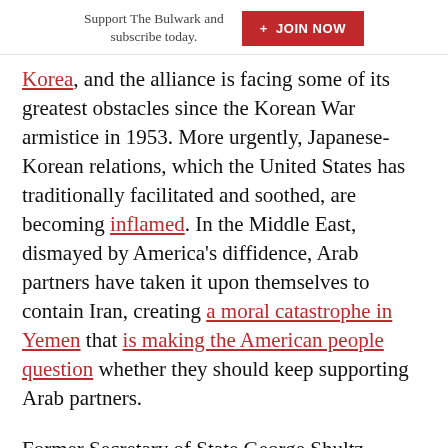Support The Bulwark and subscribe today.   + JOIN NOW
Korea, and the alliance is facing some of its greatest obstacles since the Korean War armistice in 1953. More urgently, Japanese-Korean relations, which the United States has traditionally facilitated and soothed, are becoming inflamed. In the Middle East, dismayed by America's diffidence, Arab partners have taken it upon themselves to contain Iran, creating a moral catastrophe in Yemen that is making the American people question whether they should keep supporting Arab partners.
Former Secretary of State George Shultz compared alliance management with gardening. It takes